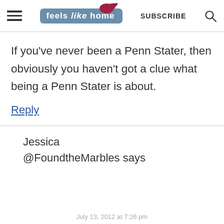[Figure (logo): Feels Like Home blog logo with blue-grey rounded rectangle background, white text reading 'feels like home' and a red bird illustration above]
SUBSCRIBE
If you've never been a Penn Stater, then obviously you haven't got a clue what being a Penn Stater is about.
Reply
Jessica @FoundtheMarbles says
July 13, 2012 at 7:26 pm